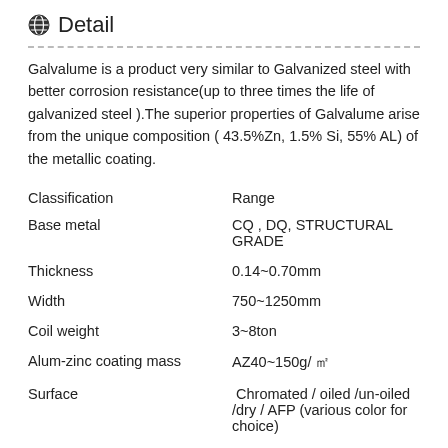Detail
Galvalume is a product very similar to Galvanized steel with better corrosion resistance(up to three times the life of galvanized steel ).The superior properties of Galvalume arise from the unique composition ( 43.5%Zn, 1.5% Si, 55% AL) of the metallic coating.
| Classification | Range |
| --- | --- |
| Base metal | CQ , DQ, STRUCTURAL GRADE |
| Thickness | 0.14~0.70mm |
| Width | 750~1250mm |
| Coil weight | 3~8ton |
| Alum-zinc coating mass | AZ40~150g/ ㎡ |
| Surface | Chromated / oiled /un-oiled /dry / AFP (various color for choice) |